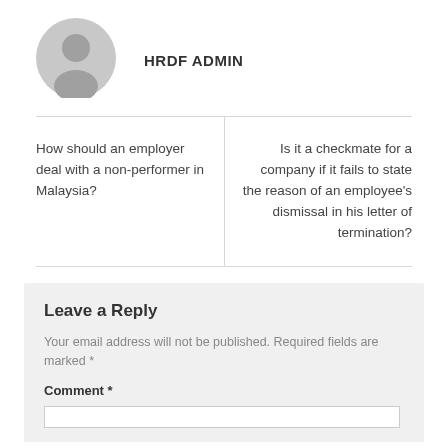[Figure (illustration): Generic grey avatar/profile icon circle]
HRDF ADMIN
How should an employer deal with a non-performer in Malaysia?
Is it a checkmate for a company if it fails to state the reason of an employee's dismissal in his letter of termination?
Leave a Reply
Your email address will not be published. Required fields are marked *
Comment *